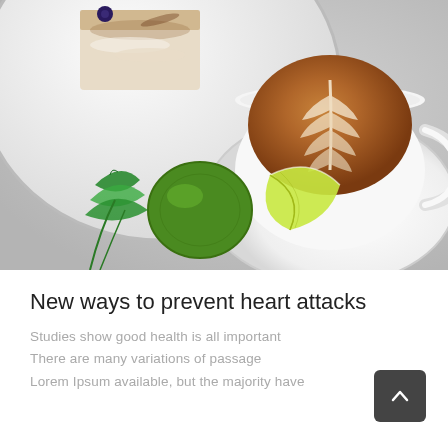[Figure (photo): Overhead photo of a latte coffee in a white cup and saucer with latte art, alongside a dessert plate with cake and fresh limes with mint leaves on a grey background.]
New ways to prevent heart attacks
Studies show good health is all important
There are many variations of passages
Lorem Ipsum available, but the majority have